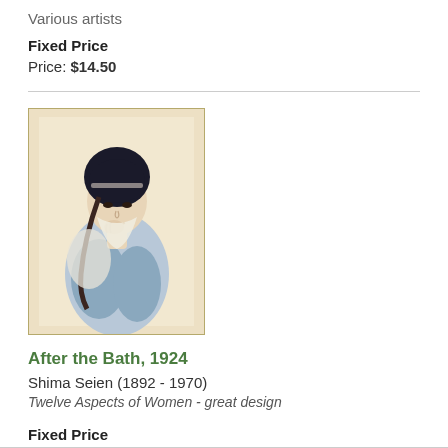Various artists
Fixed Price
Price: $14.50
[Figure (illustration): Japanese woodblock print of a woman after the bath, with dark hair and blue/grey robe, in portrait orientation with a light tan/cream background, framed with a thin olive/yellow border]
After the Bath, 1924
Shima Seien (1892 - 1970)
Twelve Aspects of Women - great design
Fixed Price
Price: $825.00